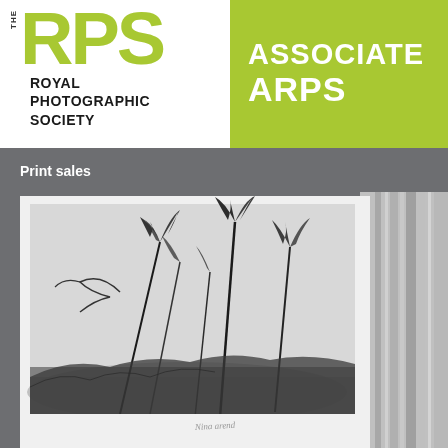[Figure (logo): The Royal Photographic Society logo with RPS in large yellow-green letters and 'THE' vertically on the left, with 'ROYAL PHOTOGRAPHIC SOCIETY' text below]
ASSOCIATE ARPS
Print sales
[Figure (photo): Black and white photograph of tall grass or reeds blowing in wind against a misty background, displayed as a print on white paper with a handwritten signature below, leaning against a wooden frame]